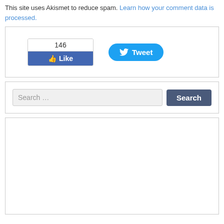This site uses Akismet to reduce spam. Learn how your comment data is processed.
[Figure (screenshot): Social sharing widget with Facebook Like button showing 146 likes and a Twitter Tweet button]
[Figure (screenshot): Search bar with text field placeholder 'Search ...' and a Search button]